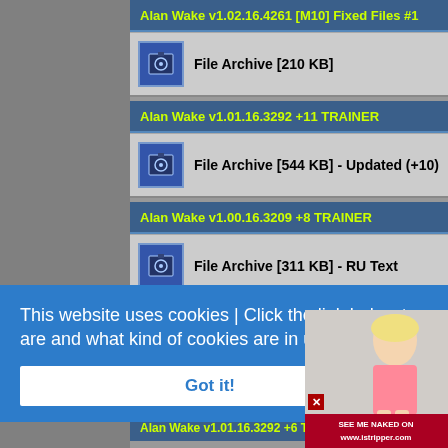Alan Wake v1.02.16.4261 [M10] Fixed Files #1
File Archive [210 KB]
Alan Wake v1.01.16.3292 +11 TRAINER
File Archive [544 KB] - Updated (+10)
Alan Wake v1.00.16.3209 +8 TRAINER
File Archive [311 KB] - RU Text
This website uses cookies | Click the link below to see what cookies are and what kind of cookies are in use here!  [Click Here]
Got it!
[Figure (photo): Advertisement showing a woman in pink outfit with text 'SEE ME NAKED ON www.istripper.com']
Alan Wake v1.01.16.3292 +6 TRAINER